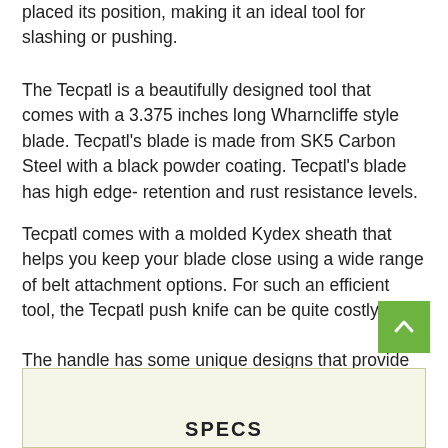placed its position, making it an ideal tool for slashing or pushing.
The Tecpatl is a beautifully designed tool that comes with a 3.375 inches long Wharncliffe style blade. Tecpatl’s blade is made from SK5 Carbon Steel with a black powder coating. Tecpatl’s blade has high edge-retention and rust resistance levels.
Tecpatl comes with a molded Kydex sheath that helps you keep your blade close using a wide range of belt attachment options. For such an efficient tool, the Tecpatl push knife can be quite costly.
The handle has some unique designs that provide multiple deployments for a close combat situation. Weighing about 5.6 ounces, this tool can be a tad heavy for some users.
SPECS